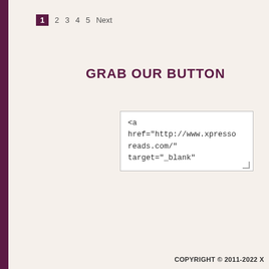1  2  3  4  5  Next
GRAB OUR BUTTON
<a
href="http://www.xpresso
reads.com/"
target="_blank"
COPYRIGHT © 2011-2022 X